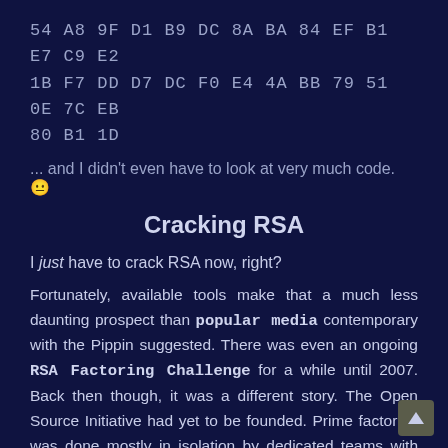54 A8 9F D1 B9 DC 8A BA 84 EF B1 E7 C9 E2 1B F7 DD D7 DC F0 E4 4A BB 79 51 0E 7C EB 80 B1 1D
... and I didn't even have to look at very much code. 😐
Cracking RSA
I just have to crack RSA now, right?
Fortunately, available tools make that a much less daunting prospect than popular media contemporary with the Pippin suggested. There was even an ongoing RSA Factoring Challenge for a while until 2007. Back then though, it was a different story. The Open Source Initiative had yet to be founded. Prime factoring was done mostly in isolation by dedicated teams with access to massive amounts of computing power (for the time). A 364-bit decimal number took a two-person team and supercomputer about a month to factor in 1992.